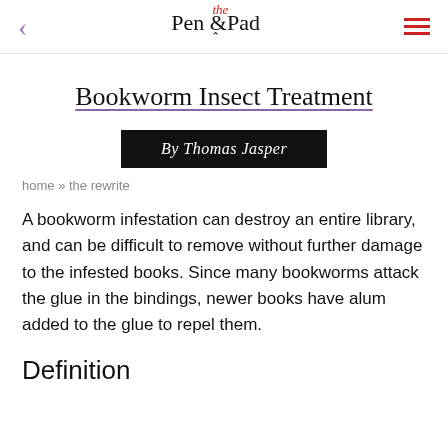< Pen & the Pad ≡
Bookworm Insect Treatment
By Thomas Jasper
home » the rewrite
A bookworm infestation can destroy an entire library, and can be difficult to remove without further damage to the infested books. Since many bookworms attack the glue in the bindings, newer books have alum added to the glue to repel them.
Definition